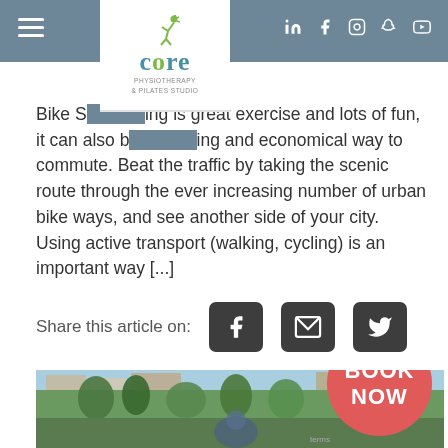Core Physiotherapy & Pilates Studio — navigation header with social icons
Bike S[cycling] is great exercise and lots of fun, it can also b[e a relaxi]ng and economical way to commute. Beat the traffic by taking the scenic route through the ever increasing number of urban bike ways, and see another side of your city. Using active transport (walking, cycling) is an important way [...]
Share this article on:
[Figure (screenshot): Man gardening in an urban garden with houses in background, with a red 'BOOK NOW' circle overlay in the bottom right]
terms